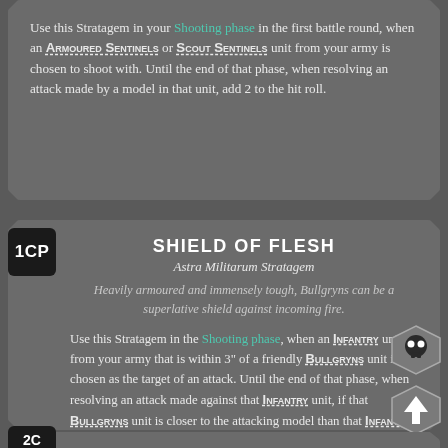Use this Stratagem in your Shooting phase in the first battle round, when an ARMOURED SENTINELS or SCOUT SENTINELS unit from your army is chosen to shoot with. Until the end of that phase, when resolving an attack made by a model in that unit, add 2 to the hit roll.
SHIELD OF FLESH
Astra Militarum Stratagem
Heavily armoured and immensely tough, Bullgryns can be a superlative shield against incoming fire.
Use this Stratagem in the Shooting phase, when an INFANTRY unit from your army that is within 3" of a friendly BULLGRYNS unit is chosen as the target of an attack. Until the end of that phase, when resolving an attack made against that INFANTRY unit, if that BULLGRYNS unit is closer to the attacking model than that INFANTRY unit is, subtract 1 from the hit roll.